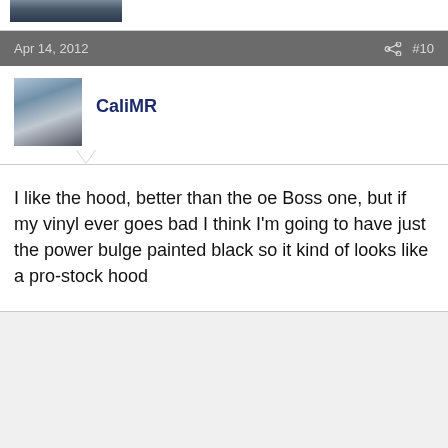[Figure (photo): Partial view of a car on a road, cropped image at top of page]
Apr 14, 2012
#10
[Figure (photo): User avatar image showing a white car near water/coastline]
CaliMR
I like the hood, better than the oe Boss one, but if my vinyl ever goes bad I think I'm going to have just the power bulge painted black so it kind of looks like a pro-stock hood